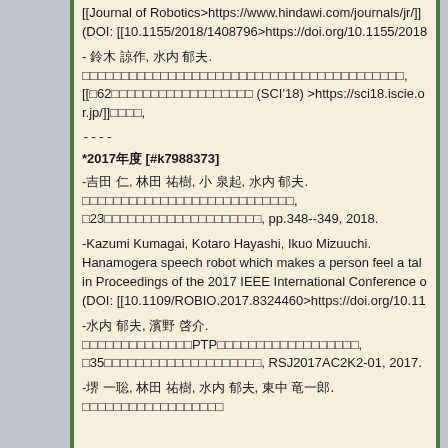[[Journal of Robotics>https://www.hindawi.com/journals/jr/]]
(DOI: [[10.1155/2018/1408796>https://doi.org/10.1155/2018
- 鈴木 諒作, 水内 郁夫.
[Japanese text],
[[第62回システム制御情報学会研究発表講演会 (SCI'18) >https://sci18.iscie.or.jp/]]講演論文集,
----
*2017年度 [#k7988373]
-吉田 仁, 林田 祐樹, 小 泉起, 水内 郁夫.
[Japanese text],
第23回知能メカトロニクスワークショップ, pp.348--349, 2018.
-Kazumi Kumagai, Kotaro Hayashi, Ikuo Mizuuchi.
Hanamogera speech robot which makes a person feel a tal
in Proceedings of the 2017 IEEE International Conference o
(DOI: [[10.1109/ROBIO.2017.8324460>https://doi.org/10.11
-水内 郁夫, 濱野 啓介.
[Japanese text]PTP[Japanese text],
第35回日本ロボット学会学術講演会, RSJ2017AC2K2-01, 2017.
-堺 一聡, 林田 祐樹, 水内 郁夫, 東中 竜一郎.
[Japanese text]